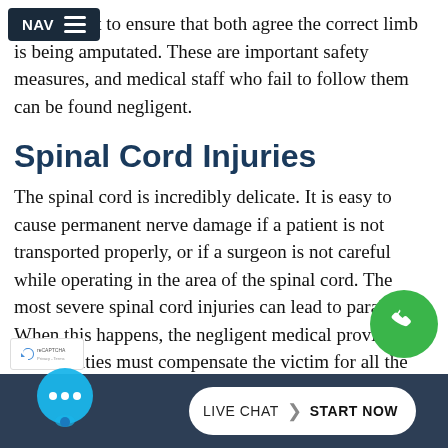sign a chart to ensure that both agree the correct limb is being amputated. These are important safety measures, and medical staff who fail to follow them can be found negligent.
Spinal Cord Injuries
The spinal cord is incredibly delicate. It is easy to cause permanent nerve damage if a patient is not transported properly, or if a surgeon is not careful while operating in the area of the spinal cord. The most severe spinal cord injuries can lead to paralysis. When this happens, the negligent medical providers and facilities must compensate the victim for all the extensive care that will be required for the rest of his or her life.
[Figure (other): Green circular phone call button (floating action button) in lower right corner of screen]
[Figure (other): Navigation bar overlay with NAV label and hamburger menu icon]
[Figure (other): Live Chat start now button bar at bottom of page with chat bubble icon]
[Figure (other): reCAPTCHA badge at bottom left]